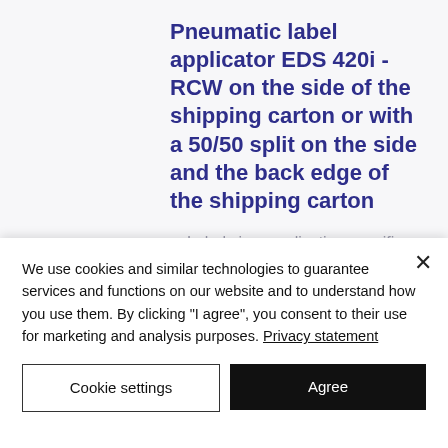Pneumatic label applicator EDS 420i - RCW on the side of the shipping carton or with a 50/50 split on the side and the back edge of the shipping carton
Label size: application specific
including vacuum plates, which correspond to the label size and the desired label
We use cookies and similar technologies to guarantee services and functions on our website and to understand how you use them. By clicking "I agree", you consent to their use for marketing and analysis purposes. Privacy statement
Cookie settings
Agree